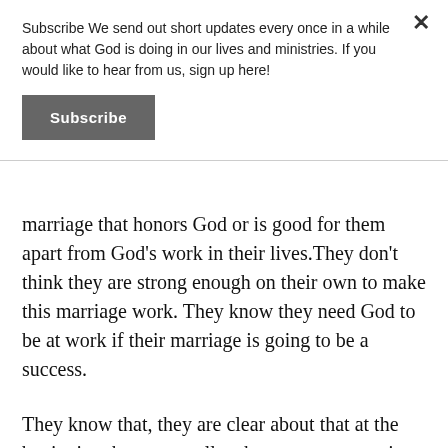Subscribe We send out short updates every once in a while about what God is doing in our lives and ministries. If you would like to hear from us, sign up here!
Subscribe
marriage that honors God or is good for them apart from God’s work in their lives.They don’t think they are strong enough on their own to make this marriage work. They know they need God to be at work if their marriage is going to be a success.
They know that, they are clear about that at the beginning, because really,whenever someone is truly saved, they have come to understand something about themselves.